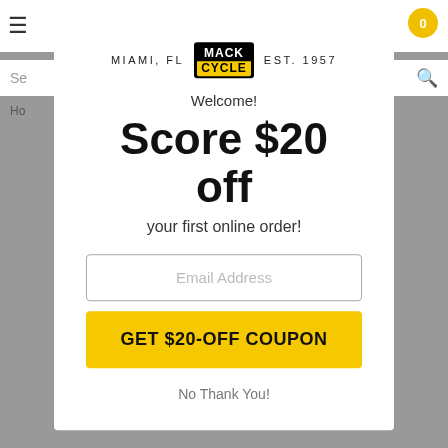[Figure (screenshot): Background of a website (mackcycle.com) showing header with hamburger menu, cart, search bar, and breadcrumb.]
[Figure (logo): Mack Cycle logo: black badge with MACK on top and CYCLE on yellow bottom strip, flanked by MIAMI, FL on the left and EST. 1957 on the right.]
Welcome!
Score $20 off
your first online order!
Email Address
GET $20-OFF COUPON
No Thank You!